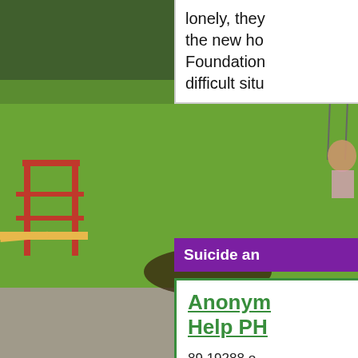[Figure (photo): Outdoor playground scene showing a climbing frame/jungle gym on green grass, with a child on a swing visible at right edge, and sandy ground in the foreground. Background has trees.]
lonely, they the new ho Foundation difficult situ
Suicide an
Anonymous Help PH
89 19288 o
24 Hours a
YOU'RE NE
you have d